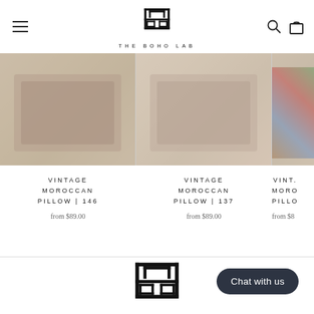[Figure (logo): The Boho Lab logo - geometric square/rectangle pattern with brand name below]
[Figure (photo): Three product images of vintage Moroccan pillows shown in a horizontal row]
VINTAGE MOROCCAN PILLOW | 146
from $89.00
VINTAGE MOROCCAN PILLOW | 137
from $89.00
VINT... MORO... PILLOW...
from $8...
[Figure (logo): The Boho Lab large footer logo - geometric square/rectangle pattern]
Chat with us
Discover The Boho Lab, an authentic Moroccan Rugs & Home